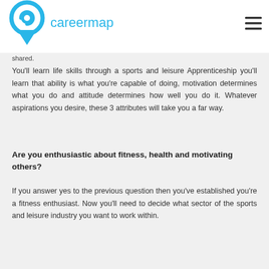careermap
shared.
You'll learn life skills through a sports and leisure Apprenticeship you'll learn that ability is what you're capable of doing, motivation determines what you do and attitude determines how well you do it. Whatever aspirations you desire, these 3 attributes will take you a far way.
Are you enthusiastic about fitness, health and motivating others?
If you answer yes to the previous question then you've established you're a fitness enthusiast. Now you'll need to decide what sector of the sports and leisure industry you want to work within.